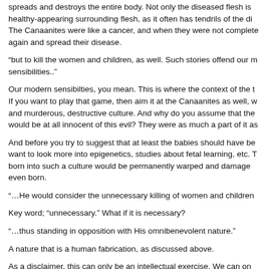spreads and destroys the entire body. Not only the diseased flesh is healthy-appearing surrounding flesh, as it often has tendrils of the di The Canaanites were like a cancer, and when they were not complete again and spread their disease.
“but to kill the women and children, as well. Such stories offend our m sensibilities..”
Our modern sensibilties, you mean. This is where the context of the t If you want to play that game, then aim it at the Canaanites as well, w and murderous, destructive culture. And why do you assume that the would be at all innocent of this evil? They were as much a part of it as
And before you try to suggest that at least the babies should have be want to look more into epigenetics, studies about fetal learning, etc. T born into such a culture would be permanently warped and damage even born.
“…He would consider the unnecessary killing of women and children
Key word; “unnecessary.” What if it is necessary?
“…thus standing in opposition with His omnibenevolent nature.”
A nature that is a human fabrication, as discussed above.
As a disclaimer, this can only be an intellectual exercise. We can on